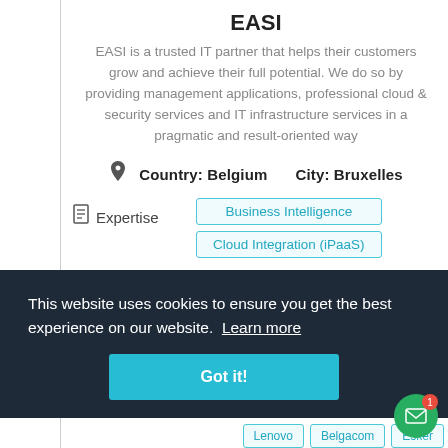EASI
EASI is a trusted IT partner that helps their customers grow and achieve their full potential. We do so by providing management applications, professional cloud & security services and IT infrastructure services in a pragmatic and result-oriented way
Country: Belgium    City: Bruxelles
Expertise
Business Intelligence
Cloud Integration (iPaaS)
This website uses cookies to ensure you get the best experience on our website. Learn more
Got it!
Lenovo
Belgacom
Esker